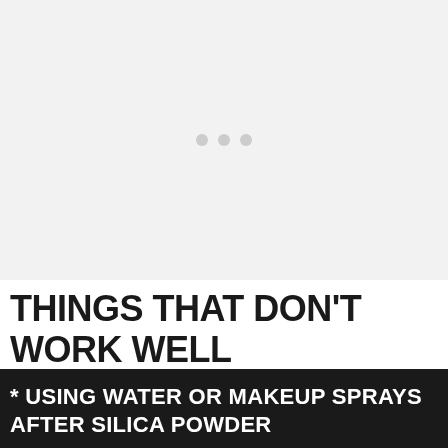[Figure (other): Large light gray image placeholder area with three small gray dots centered in the middle]
THINGS THAT DON'T WORK WELL
* USING WATER OR MAKEUP SPRAYS AFTER SILICA POWDER